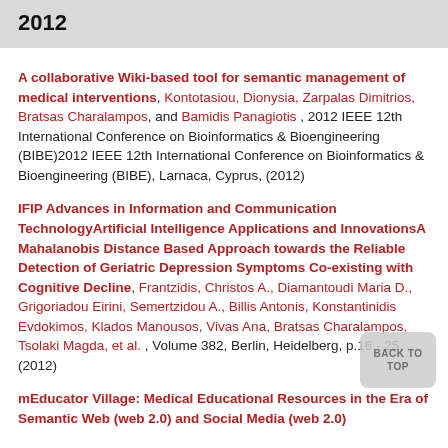2012
A collaborative Wiki-based tool for semantic management of medical interventions, Kontotasiou, Dionysia, Zarpalas Dimitrios, Bratsas Charalampos, and Bamidis Panagiotis , 2012 IEEE 12th International Conference on Bioinformatics & Bioengineering (BIBE)2012 IEEE 12th International Conference on Bioinformatics & Bioengineering (BIBE), Larnaca, Cyprus, (2012)
IFIP Advances in Information and Communication TechnologyArtificial Intelligence Applications and InnovationsA Mahalanobis Distance Based Approach towards the Reliable Detection of Geriatric Depression Symptoms Co-existing with Cognitive Decline, Frantzidis, Christos A., Diamantoudi Maria D., Grigoriadou Eirini, Semertzidou A., Billis Antonis, Konstantinidis Evdokimos, Klados Manousos, Vivas Ana, Bratsas Charalampos, Tsolaki Magda, et al. , Volume 382, Berlin, Heidelberg, p.16 - 25, (2012)
mEducator Village: Medical Educational Resources in the Era of Semantic Web (web 2.0) and Social Media (web 2.0)